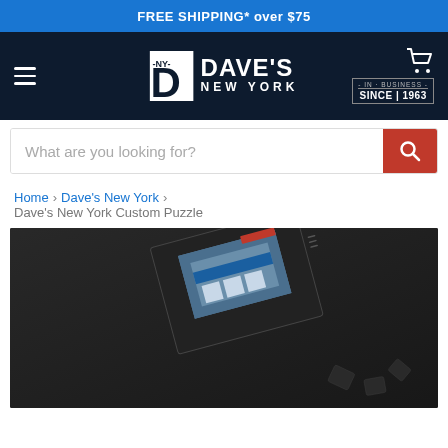FREE SHIPPING* over $75
[Figure (logo): Dave's New York logo with hamburger menu, cart icon, and 'In Business Since 1963' badge on dark navy background]
What are you looking for?
Home › Dave's New York › Dave's New York Custom Puzzle
[Figure (photo): Dark puzzle box with a photo of Dave's New York store front on the cover, with scattered puzzle pieces on a dark surface]